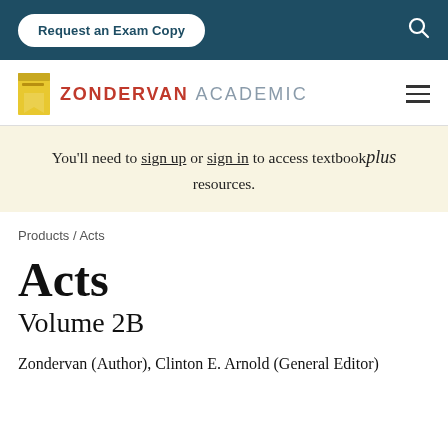Request an Exam Copy
[Figure (logo): Zondervan Academic logo with yellow book icon, red ZONDERVAN text and gray ACADEMIC text]
You’ll need to sign up or sign in to access textbookplus resources.
Products / Acts
Acts
Volume 2B
Zondervan (Author), Clinton E. Arnold (General Editor)